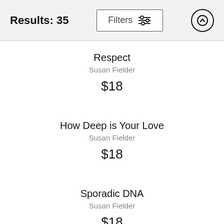Results: 35
Respect
Susan Fielder
$18
How Deep is Your Love
Susan Fielder
$18
Sporadic DNA
Susan Fielder
$18